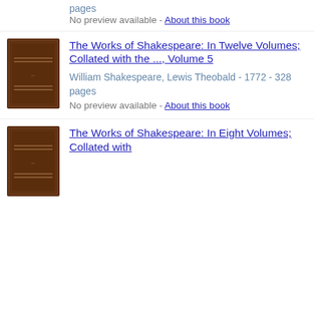pages
No preview available - About this book
[Figure (photo): Brown book cover for The Works of Shakespeare Volume 5]
The Works of Shakespeare: In Twelve Volumes; Collated with the ..., Volume 5
William Shakespeare, Lewis Theobald - 1772 - 328 pages
No preview available - About this book
[Figure (photo): Brown book cover for The Works of Shakespeare In Eight Volumes]
The Works of Shakespeare: In Eight Volumes; Collated with